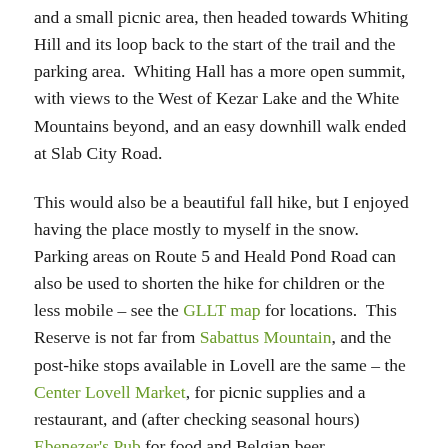and a small picnic area, then headed towards Whiting Hill and its loop back to the start of the trail and the parking area.  Whiting Hall has a more open summit, with views to the West of Kezar Lake and the White Mountains beyond, and an easy downhill walk ended at Slab City Road.
This would also be a beautiful fall hike, but I enjoyed having the place mostly to myself in the snow.  Parking areas on Route 5 and Heald Pond Road can also be used to shorten the hike for children or the less mobile – see the GLLT map for locations.  This Reserve is not far from Sabattus Mountain, and the post-hike stops available in Lovell are the same – the Center Lovell Market, for picnic supplies and a restaurant, and (after checking seasonal hours) Ebenezer's Pub for food and Belgian beer.